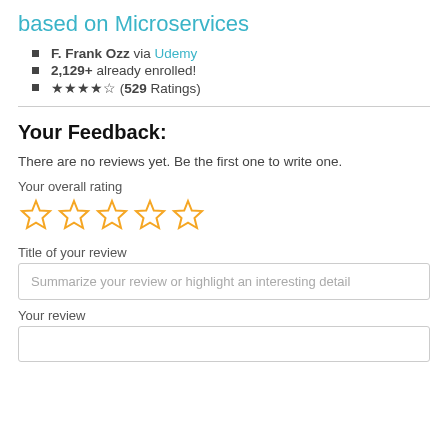based on Microservices
F. Frank Ozz via Udemy
2,129+ already enrolled!
★★★★☆ (529 Ratings)
Your Feedback:
There are no reviews yet. Be the first one to write one.
Your overall rating
[Figure (other): Five empty star rating icons in gold outline]
Title of your review
Summarize your review or highlight an interesting detail
Your review
Tell us about your own experience...